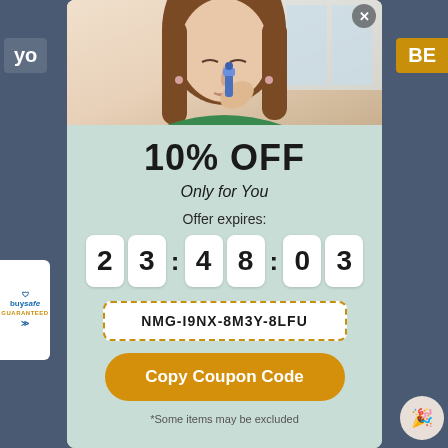[Figure (screenshot): Screenshot of a website with a modal popup. Background is dark blue-grey. Left edge shows a 'buysafe GUARANTEED' badge. Modal shows a photo of a woman using a nasal spray, then a coupon/discount popup.]
10% OFF
Only for You
Offer expires:
23:48:03
NMG-I9NX-8M3Y-8LFU
Copy Coupon Code
*Some items may be excluded